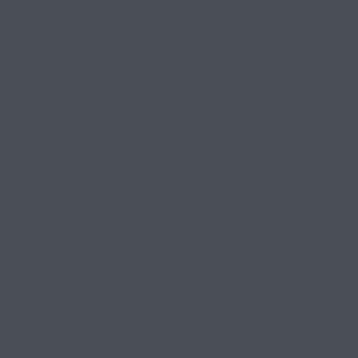обеспечение, разработанное ве...
Edwardcrymn 2021/07/23 12:38
Cambridge Advanced LearnerвТ...
Produk Terlaris!
Download APK Kamus Inggris (К...
English Dictionary - Offline
Cambridge Advanced LearnerвТ...
Dapatkan Updatenya!.Dapatkan ...
Store id-ID
How to Install Kamus Bahasa Ing...
BlueStacks free emulator for PC ...
inside this web page. 2. Begin ins...
launching the installer If your dow...
installation process just click on "...
11th, Advertisement. Are you inte...
for a fastfinding and good English...
dictionary? Here you can find a g...
more than 40, words for each lan...
IndoDic. Aplikasi kamus terbaik u...
Aplikasi ini bisa digunakan secara...
dengan menginstall aplikasinya...